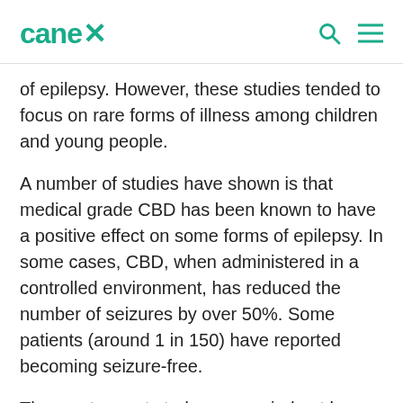canex
of epilepsy. However, these studies tended to focus on rare forms of illness among children and young people.
A number of studies have shown is that medical grade CBD has been known to have a positive effect on some forms of epilepsy. In some cases, CBD, when administered in a controlled environment, has reduced the number of seizures by over 50%. Some patients (around 1 in 150) have reported becoming seizure-free.
The most recent study was carried out by Canadian health company, Satipharm. Their clinical trial on 16 children suffering from treatment-resistant epilepsy